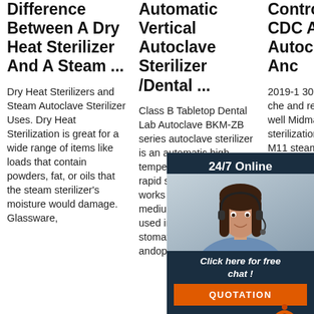Difference Between A Dry Heat Sterilizer And A Steam ...
Dry Heat Sterilizers and Steam Autoclave Sterilizer Uses. Dry Heat Sterilization is great for a wide range of items like loads that contain powders, fat, or oils that the steam sterilizer's moisture would damage. Glassware,
Automatic Vertical Autoclave Sterilizer /Dental ...
Class B Tabletop Dental Lab Autoclave BKM-ZB series autoclave sterilizer is an automatic high temperature andpressure rapid sterilizer which works with steam as medium.It can be widely used in department of stomatology andophthalmology
Control Tips: CDC App, Autoclaving , Anс
2019-1 30u200 ere are the che and recom from th as well Midma guideli proper sterilization using the M9 or M11 steam autoclave. 2. Sterilization, Disinfection of
[Figure (photo): Customer service agent with headset, smiling, overlaid with a dark blue panel showing '24/7 Online', 'Click here for free chat!', an orange QUOTATION button, and a TOP badge.]